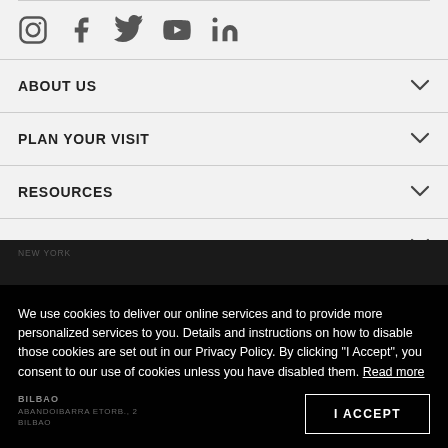[Figure (infographic): Social media icons: Instagram, Facebook, Twitter, YouTube, LinkedIn]
ABOUT US
PLAN YOUR VISIT
RESOURCES
SUPPORT US
We use cookies to deliver our online services and to provide more personalized services to you. Details and instructions on how to disable those cookies are set out in our Privacy Policy. By clicking "I Accept", you consent to our use of cookies unless you have disabled them. Read more
NEW YORK
BILBAO
I ACCEPT